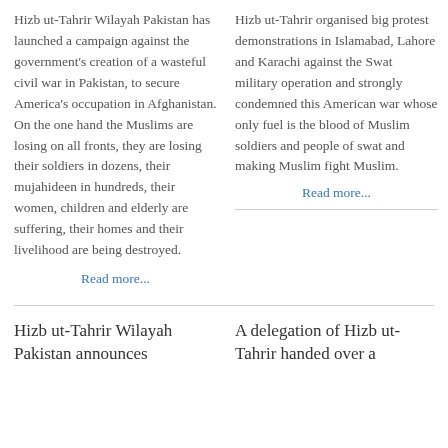Hizb ut-Tahrir Wilayah Pakistan has launched a campaign against the government's creation of a wasteful civil war in Pakistan, to secure America's occupation in Afghanistan. On the one hand the Muslims are losing on all fronts, they are losing their soldiers in dozens, their mujahideen in hundreds, their women, children and elderly are suffering, their homes and their livelihood are being destroyed.
Read more...
Hizb ut-Tahrir organised big protest demonstrations in Islamabad, Lahore and Karachi against the Swat military operation and strongly condemned this American war whose only fuel is the blood of Muslim soldiers and people of swat and making Muslim fight Muslim.
Read more...
Hizb ut-Tahrir Wilayah Pakistan announces
A delegation of Hizb ut-Tahrir handed over a